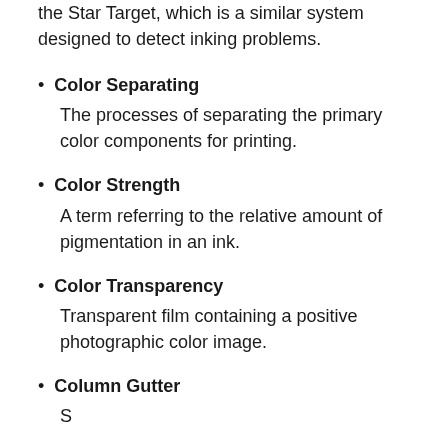the Star Target, which is a similar system designed to detect inking problems.
Color Separating
The processes of separating the primary color components for printing.
Color Strength
A term referring to the relative amount of pigmentation in an ink.
Color Transparency
Transparent film containing a positive photographic color image.
Column Gutter
S...